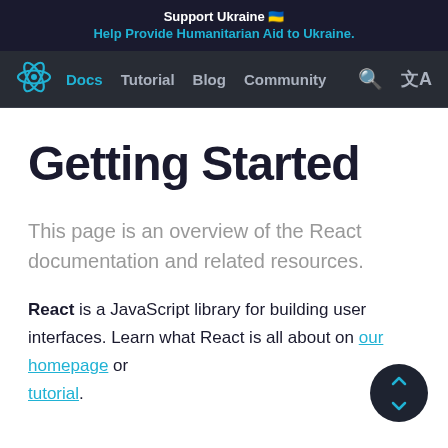Support Ukraine 🇺🇦
Help Provide Humanitarian Aid to Ukraine.
Docs  Tutorial  Blog  Community
Getting Started
This page is an overview of the React documentation and related resources.
React is a JavaScript library for building user interfaces. Learn what React is all about on our homepage or tutorial.